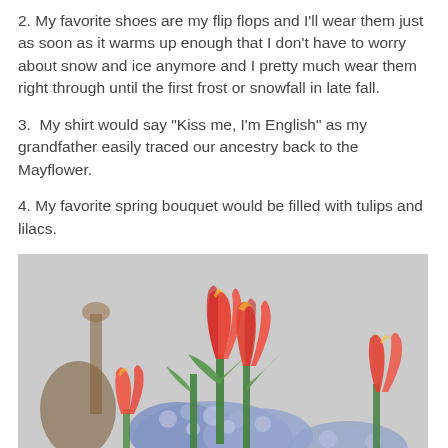2. My favorite shoes are my flip flops and I'll wear them just as soon as it warms up enough that I don't have to worry about snow and ice anymore and I pretty much wear them right through until the first frost or snowfall in late fall.
3.  My shirt would say "Kiss me, I'm English" as my grandfather easily traced our ancestry back to the Mayflower.
4. My favorite spring bouquet would be filled with tulips and lilacs.
[Figure (photo): A bouquet of red tulips and purple/blue hyacinths in a vase, with a blurred guitar in the background, photographed against a light grey background.]